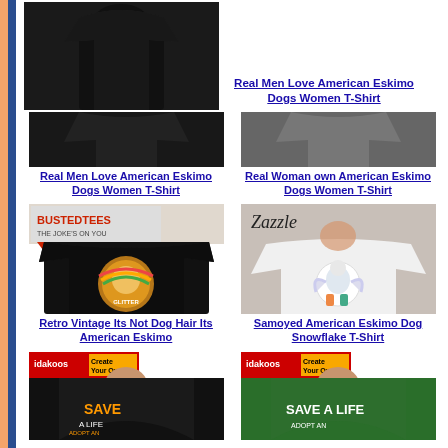[Figure (photo): Black t-shirt product image cropped at top]
Real Men Love American Eskimo Dogs Women T-Shirt
[Figure (photo): Gray t-shirt product image cropped at top]
Real Woman own American Eskimo Dogs Women T-Shirt
[Figure (photo): BustedTees black t-shirt with retro vintage American Eskimo dog design]
Retro Vintage Its Not Dog Hair Its American Eskimo
[Figure (photo): Zazzle white sweatshirt with Samoyed American Eskimo dog snowflake design]
Samoyed American Eskimo Dog Snowflake T-Shirt
[Figure (photo): idakoos black t-shirt Save a Life Adopt an American Eskimo Dog]
[Figure (photo): idakoos green t-shirt Save a Life Adopt an American Eskimo Dog]